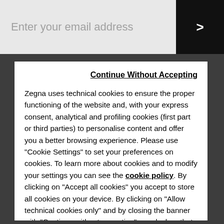Enter your email address
Continue Without Accepting
Zegna uses technical cookies to ensure the proper functioning of the website and, with your express consent, analytical and profiling cookies (first part or third parties) to personalise content and offer you a better browsing experience. Please use "Cookie Settings" to set your preferences on cookies. To learn more about cookies and to modify your settings you can see the cookie policy. By clicking on "Accept all cookies" you accept to store all cookies on your device. By clicking on "Allow technical cookies only" and by closing the banner with "Continue without accepting" you declare that you want to proceed using only technical cookies